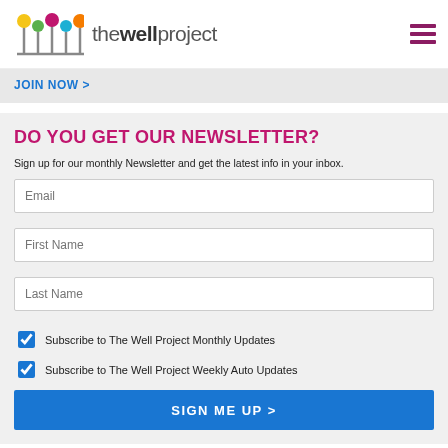the well project
JOIN NOW >
DO YOU GET OUR NEWSLETTER?
Sign up for our monthly Newsletter and get the latest info in your inbox.
Email (input field)
First Name (input field)
Last Name (input field)
Subscribe to The Well Project Monthly Updates (checked)
Subscribe to The Well Project Weekly Auto Updates (checked)
SIGN ME UP >